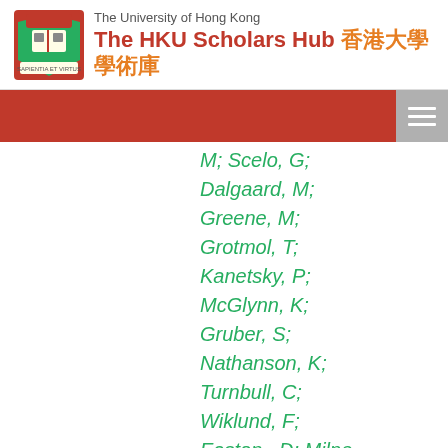The University of Hong Kong — The HKU Scholars Hub 香港大學學術庫
M; Scelo, G;
Dalgaard, M;
Greene, M;
Grotmol, T;
Kanetsky, P;
McGlynn, K;
Gruber, S;
Nathanson, K;
Turnbull, C;
Wiklund, F;
Easton,, D; Milne, R; Simard, J; Hall, P; Michailidou, K;
Dennis, J; Schmidt, M; Casey, G;
Chang-Claude, J;
Gharahkhani, P;
Whiteman, D;